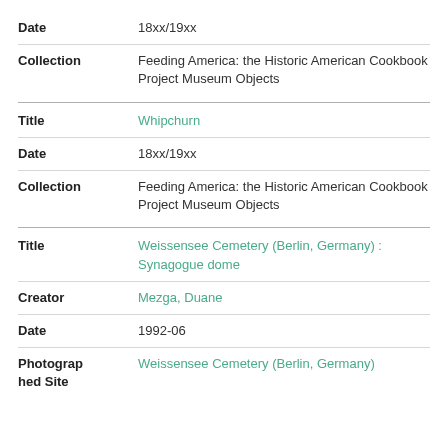| Field | Value |
| --- | --- |
| Date | 18xx/19xx |
| Collection | Feeding America: the Historic American Cookbook Project Museum Objects |
| Field | Value |
| --- | --- |
| Title | Whipchurn |
| Date | 18xx/19xx |
| Collection | Feeding America: the Historic American Cookbook Project Museum Objects |
| Field | Value |
| --- | --- |
| Title | Weissensee Cemetery (Berlin, Germany) : Synagogue dome |
| Creator | Mezga, Duane |
| Date | 1992-06 |
| Photographed Site | Weissensee Cemetery (Berlin, Germany) |